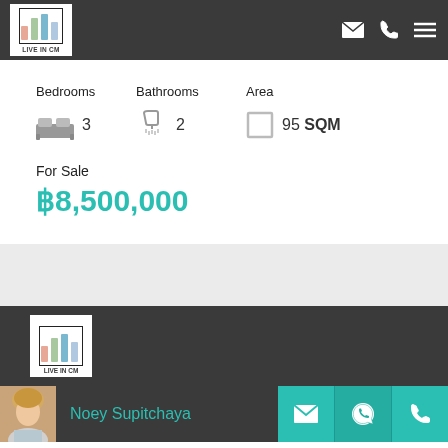[Figure (logo): Live In CM logo with bar chart icon and text LIVE IN CM on white background in dark header]
Bedrooms  Bathrooms  Area
3   2   95 SQM
For Sale
฿8,500,000
[Figure (logo): Live In CM logo partially visible in dark footer section]
[Figure (photo): Agent photo of Noey Supitchaya, blonde woman]
Noey Supitchaya